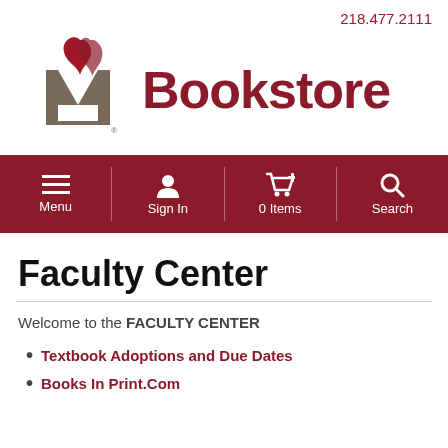218.477.2111
[Figure (logo): Minnesota State University Moorhead M logo with flame design followed by 'Bookstore' text in dark red]
[Figure (screenshot): Navigation bar with Menu, Sign In, 0 Items, Search options on dark red background]
Faculty Center
Welcome to the FACULTY CENTER
Textbook Adoptions and Due Dates
Books In Print.Com